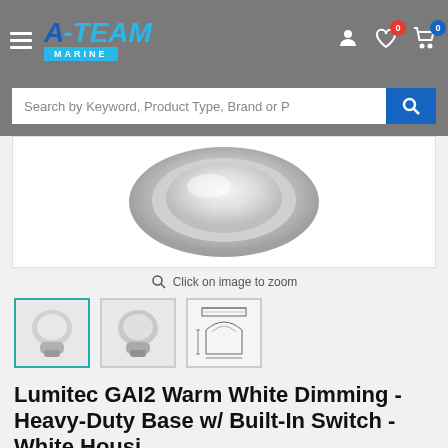A-Team Marine
[Figure (photo): Main product image showing a round LED light fixture (Lumitec GAI2) from above, with a silver/chrome bezel and white LED center, on white background]
Click on image to zoom
[Figure (photo): Thumbnail 1: Lumitec GAI2 LED light, angled view showing base]
[Figure (photo): Thumbnail 2: Lumitec GAI2 LED light, side/angled view]
[Figure (engineering-diagram): Thumbnail 3: Technical schematic/line drawing of the Lumitec GAI2 light fixture]
Lumitec GAI2 Warm White Dimming - Heavy-Duty Base w/ Built-In Switch - White Housing